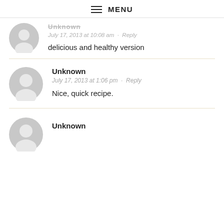MENU
Unknown
July 17, 2013 at 10:08 am · Reply
delicious and healthy version
Unknown
July 17, 2013 at 1:06 pm · Reply
Nice, quick recipe.
Unknown